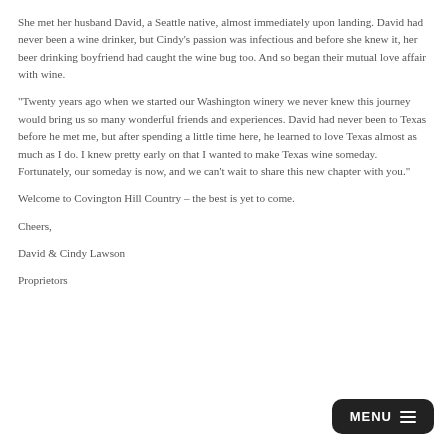She met her husband David, a Seattle native, almost immediately upon landing. David had never been a wine drinker, but Cindy's passion was infectious and before she knew it, her beer drinking boyfriend had caught the wine bug too. And so began their mutual love affair with wine.
“Twenty years ago when we started our Washington winery we never knew this journey would bring us so many wonderful friends and experiences. David had never been to Texas before he met me, but after spending a little time here, he learned to love Texas almost as much as I do. I knew pretty early on that I wanted to make Texas wine someday. Fortunately, our someday is now, and we can’t wait to share this new chapter with you.”
Welcome to Covington Hill Country – the best is yet to come.
Cheers,
David & Cindy Lawson
Proprietors